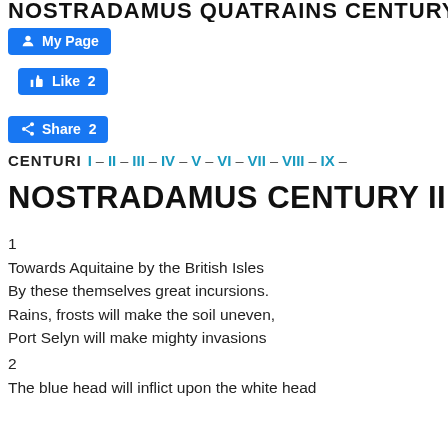NOSTRADAMUS QUATRAINS CENTURY I...
[Figure (other): Facebook My Page button (blue)]
[Figure (other): Facebook Like 2 button (blue)]
[Figure (other): Facebook Share 2 button (blue)]
CENTURI  I – II – III – IV – V – VI – VII – VIII – IX –
NOSTRADAMUS CENTURY II
1
Towards Aquitaine by the British Isles
By these themselves great incursions.
Rains, frosts will make the soil uneven,
Port Selyn will make mighty invasions
2
The blue head will inflict upon the white head
As much evil as France has done them good:
Dead at the sail-yard the great one hung on the branch.
When seized by his own the King will say how much.
3
Because of the solar heat on the sea